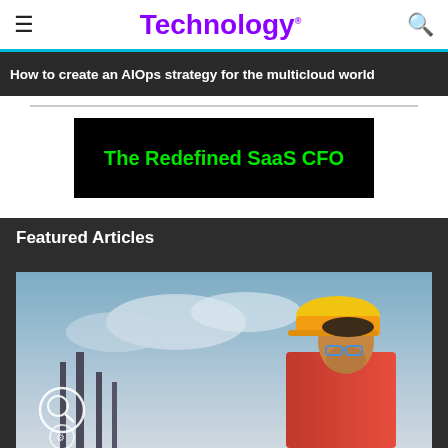Technology.
How to create an AIOps strategy for the multicloud world
[Figure (infographic): Advertisement banner with black background and green bold text reading 'The Redefined SaaS CFO']
Featured Articles
[Figure (photo): Worker wearing yellow hard hat and red shirt with safety glasses, standing in front of an industrial facility with cloudy sky. Overlaid with white circular UI/AR icons at bottom left.]